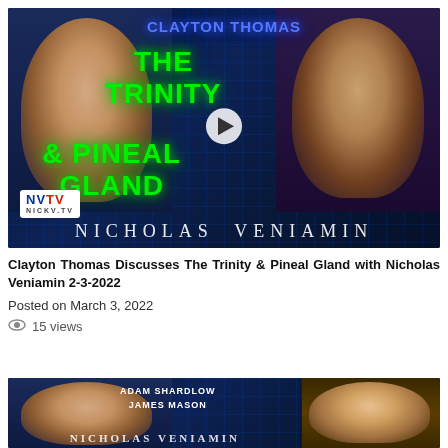[Figure (screenshot): Video thumbnail showing Clayton Thomas and Nicholas Veniamin. Text overlay reads CLAYTON THOMAS, THE TRINITY & PINEAL GLAND in green, with NVTV logo and NICHOLAS VENIAMIN at the bottom. Play button in center.]
Clayton Thomas Discusses The Trinity & Pineal Gland with Nicholas Veniamin 2-3-2022
Posted on March 3, 2022
15 views
[Figure (screenshot): Partial video thumbnail showing Adam Shardlow, James Mason, and Nicholas Veniamin. Text overlays show ADAM SHARDLOW JAMES MASON in white.]